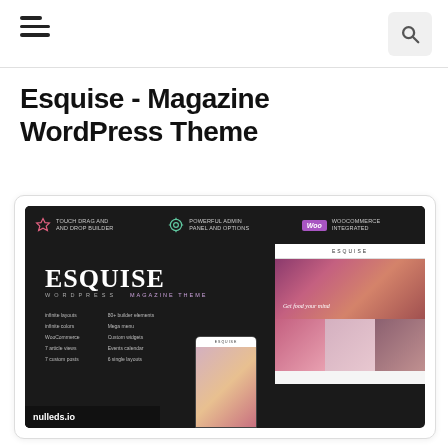Esquise - Magazine WordPress Theme
[Figure (screenshot): Screenshot of Esquise - Magazine WordPress Theme showing the theme preview with dark background, ESQUISE logo, feature list (infinite layouts, infinite colors, WooCommerce, 7 article views, 7 custom posts, 80+ builder elements, Mega menu, Custom widgets, Events calendar, 6 single layouts), desktop and mobile previews, and nulleds.io watermark. Top bar shows three features: Touch drag and drop builder, Powerful admin panel and options, WooCommerce integrated.]